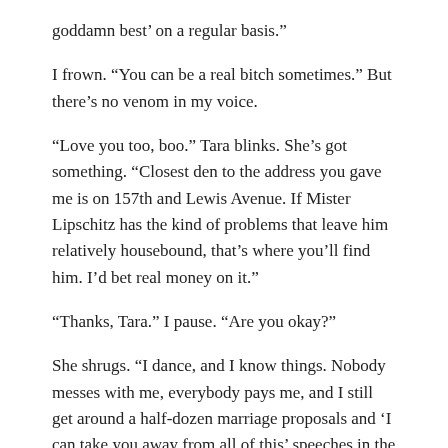goddamn best’ on a regular basis.”
I frown. “You can be a real bitch sometimes.” But there’s no venom in my voice.
“Love you too, boo.” Tara blinks. She’s got something. “Closest den to the address you gave me is on 157th and Lewis Avenue. If Mister Lipschitz has the kind of problems that leave him relatively housebound, that’s where you’ll find him. I’d bet real money on it.”
“Thanks, Tara.” I pause. “Are you okay?”
She shrugs. “I dance, and I know things. Nobody messes with me, everybody pays me, and I still get around a half-dozen marriage proposals and ‘I can take you away from all of this’ speeches in the VIP rooms every night. I’m good.”